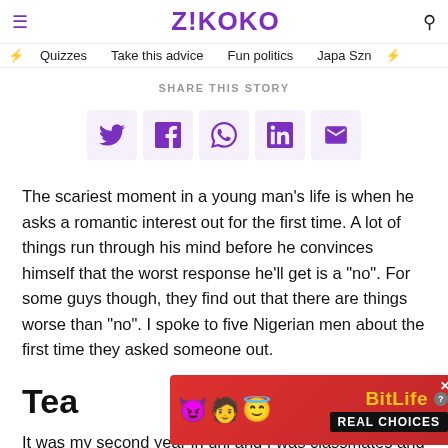ZIKOKO — navigation: Quizzes, Take this advice, Fun politics, Japa Szn
SHARE THIS STORY
[Figure (infographic): Social share buttons: Twitter, Facebook, WhatsApp, LinkedIn, Email]
The scariest moment in a young man's life is when he asks a romantic interest out for the first time. A lot of things run through his mind before he convinces himself that the worst response he'll get is a "no". For some guys though, they find out that there are things worse than "no". I spoke to five Nigerian men about the first time they asked someone out.
Tea
It was my second year in uni and I was classmates and good friends wi... because it... ent planned o... ote a
[Figure (photo): BitLife advertisement banner with emojis and 'REAL CHOICES' text]